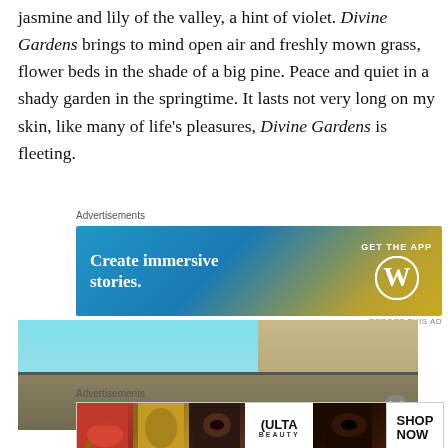jasmine and lily of the valley, a hint of violet. Divine Gardens brings to mind open air and freshly mown grass, flower beds in the shade of a big pine. Peace and quiet in a shady garden in the springtime. It lasts not very long on my skin, like many of life’s pleasures, Divine Gardens is fleeting.
Advertisements
[Figure (screenshot): WordPress advertisement banner: gradient blue-to-gold background with text 'Create immersive stories.' and 'GET THE APP' with WordPress logo]
[Figure (photo): Partial photograph showing a rooftop structure against a light blue sky with a stone or concrete building visible on the right side. A close button (X) is overlaid in the bottom right corner.]
Advertisements
[Figure (screenshot): Ulta Beauty advertisement showing collage of beauty/makeup images with 'ULTA' logo in center and 'SHOP NOW' text on the right]